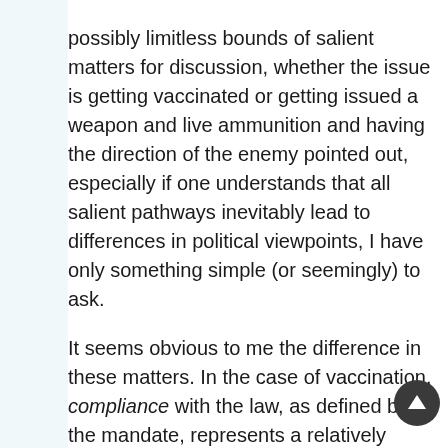possibly limitless bounds of salient matters for discussion, whether the issue is getting vaccinated or getting issued a weapon and live ammunition and having the direction of the enemy pointed out, especially if one understands that all salient pathways inevitably lead to differences in political viewpoints, I have only something simple (or seemingly) to ask.
It seems obvious to me the difference in these matters. In the case of vaccination, compliance with the law, as defined by the mandate, represents a relatively small risk to oneself (measured by scientifically valid statistical methods) while ensuring increased safeguards to the entire populace; in the case of serving in combat, non-compliance with the laws of conscription represents a significant